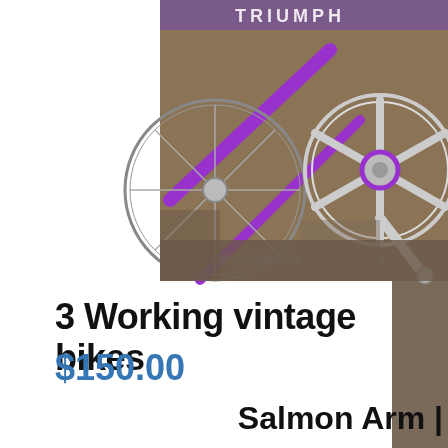[Figure (photo): Close-up photograph of a purple vintage Triumph bicycle, showing the frame, wheel spokes, chainring, and crank arm. The word TRIUMPH is visible on the frame in white lettering.]
3 Working vintage bikes
$150.00
Salmon Arm |